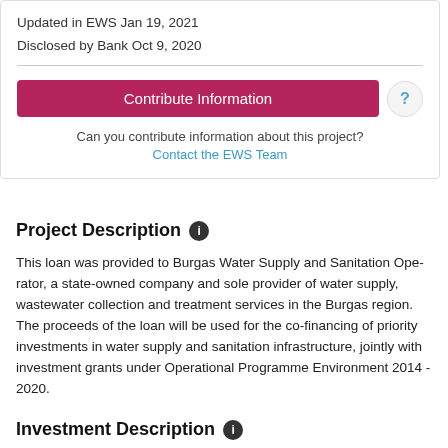Updated in EWS Jan 19, 2021
Disclosed by Bank Oct 9, 2020
Contribute Information
Can you contribute information about this project?
Contact the EWS Team
Project Description
This loan was provided to Burgas Water Supply and Sanitation Ope... a state-owned company and sole provider of water supply, wastew... collection and treatment services in the Burgas region. The procee... the loan will be used for the co-financing of priority investments in... supply and sanitation infrastructure, jointly with investment grant... Operational Programme Environment 2014 - 2020.
Investment Description